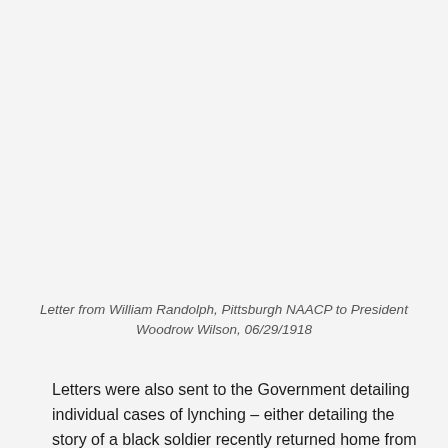Letter from William Randolph, Pittsburgh NAACP to President Woodrow Wilson, 06/29/1918
Letters were also sent to the Government detailing individual cases of lynching – either detailing the story of a black soldier recently returned home from the War